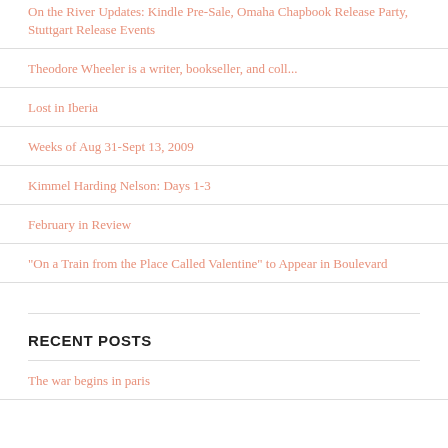On the River Updates: Kindle Pre-Sale, Omaha Chapbook Release Party, Stuttgart Release Events
Theodore Wheeler is a writer, bookseller, and coll...
Lost in Iberia
Weeks of Aug 31-Sept 13, 2009
Kimmel Harding Nelson: Days 1-3
February in Review
"On a Train from the Place Called Valentine" to Appear in Boulevard
RECENT POSTS
The war begins in paris